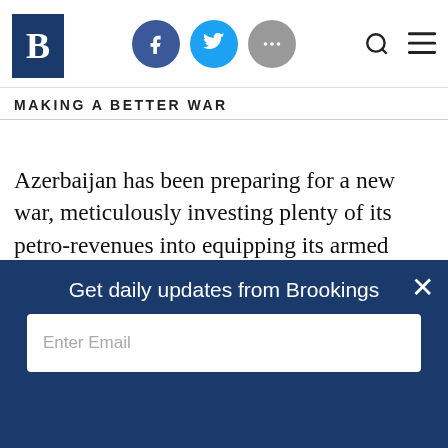Brookings Institution website header with logo, social icons (Facebook, Twitter, more), search and menu icons
MAKING A BETTER WAR
Azerbaijan has been preparing for a new war, meticulously investing plenty of its petro-revenues into equipping its armed forces with modern weapons, including strike drones. Armenia is entirely dependent on Russia’s “generosity” in selling armaments and cannot count, from previous experiences, on an expansion of direct support in an
Get daily updates from Brookings
Enter Email